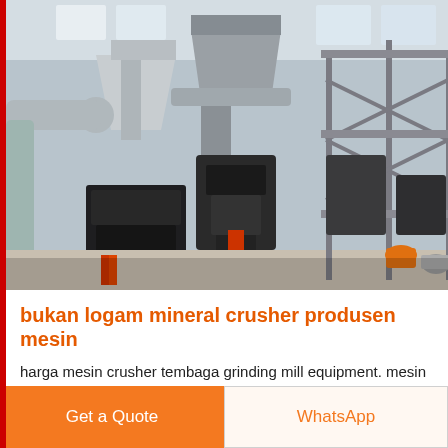[Figure (photo): Industrial mineral crushing and grinding mill equipment inside a large factory building. The image shows large hopper/dust collector units, conveyor pipes, heavy machinery including crushers and grinders on the factory floor, and metal scaffolding/framework on the right side.]
bukan logam mineral crusher produsen mesin
harga mesin crusher tembaga grinding mill equipment. mesin crusher harga jual bahan mineral logam tembagaDouble
Get a Quote
WhatsApp